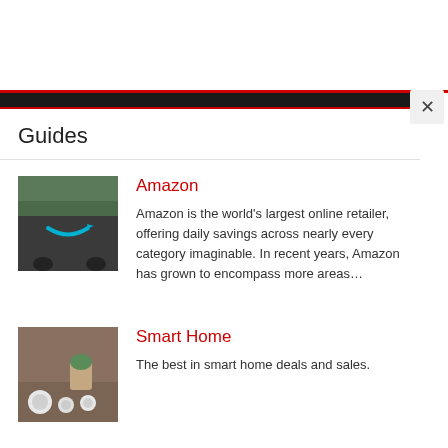[Figure (screenshot): Top navigation bar area with red and black bars and a close (X) button]
Guides
[Figure (photo): Amazon delivery van with Amazon smile logo]
Amazon
Amazon is the world's largest online retailer, offering daily savings across nearly every category imaginable. In recent years, Amazon has grown to encompass more areas…
[Figure (photo): Smart home devices on a wooden surface]
Smart Home
The best in smart home deals and sales.